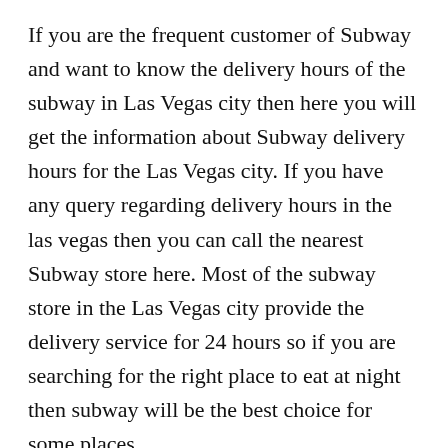If you are the frequent customer of Subway and want to know the delivery hours of the subway in Las Vegas city then here you will get the information about Subway delivery hours for the Las Vegas city. If you have any query regarding delivery hours in the las vegas then you can call the nearest Subway store here. Most of the subway store in the Las Vegas city provide the delivery service for 24 hours so if you are searching for the right place to eat at night then subway will be the best choice for some places
Top Nearest Subway Stores in La Vegas city